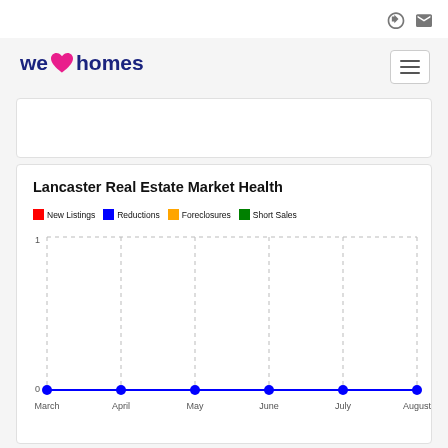we love homes — navigation icons
[Figure (logo): We Love Homes logo with pink heart and dark blue text]
Lancaster Real Estate Market Health
[Figure (line-chart): Lancaster Real Estate Market Health]